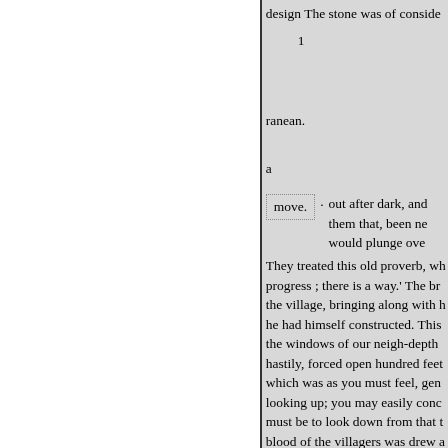design The stone was of conside
1
ranean.
a
move.	·	out after dark, and them that, been ne would plunge ove
They treated this old proverb, wh progress ; there is a way.' The br the village, bringing along with h he had himself constructed. This the windows of our neigh-depth hastily, forced open hundred feet which was as you must feel, gen looking up; you may easily conc must be to look down from that t blood of the villagers was drew a the brigand still ing the bed, det